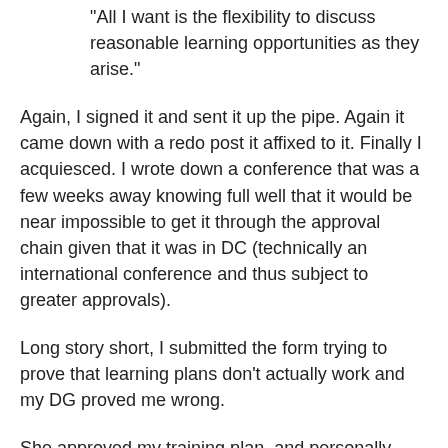"All I want is the flexibility to discuss reasonable learning opportunities as they arise."
Again, I signed it and sent it up the pipe. Again it came down with a redo post it affixed to it. Finally I acquiesced. I wrote down a conference that was a few weeks away knowing full well that it would be near impossible to get it through the approval chain given that it was in DC (technically an international conference and thus subject to greater approvals).
Long story short, I submitted the form trying to prove that learning plans don't actually work and my DG proved me wrong.
She approved my training plan, and personally shepherded the request through the system and wound up in DC attending an O'Reilly Media Government 2.0 conference.  That woman went to the wall to get me to that conference. But I doubt proving me wrong was her motivation, she just wanted to honour her commitment